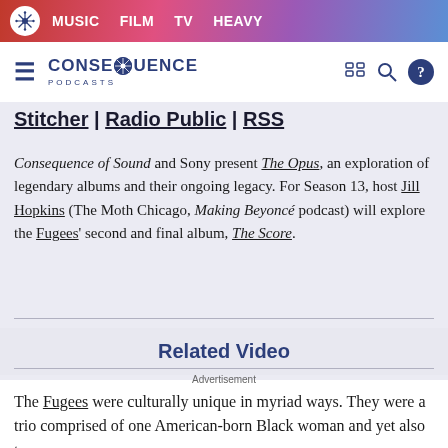MUSIC | FILM | TV | HEAVY
CONSEQUENCE PODCASTS
Stitcher | Radio Public | RSS
Consequence of Sound and Sony present The Opus, an exploration of legendary albums and their ongoing legacy. For Season 13, host Jill Hopkins (The Moth Chicago, Making Beyoncé podcast) will explore the Fugees' second and final album, The Score.
Related Video
Advertisement
The Fugees were culturally unique in myriad ways. They were a trio comprised of one American-born Black woman and yet also two